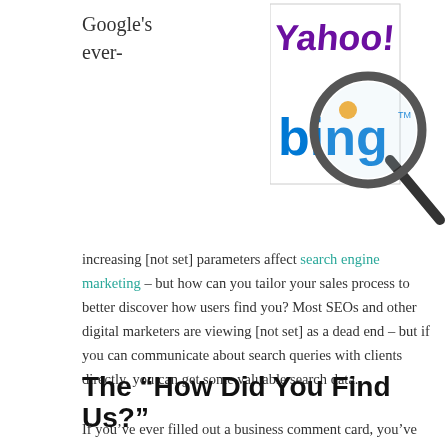Google's ever-
[Figure (illustration): A magnifying glass over Yahoo! and Bing logos]
increasing [not set] parameters affect search engine marketing – but how can you tailor your sales process to better discover how users find you? Most SEOs and other digital marketers are viewing [not set] as a dead end – but if you can communicate about search queries with clients directly, you can get some valuable search data.
The “How Did You Find Us?”
If you've ever filled out a business comment card, you've probably told a company how you